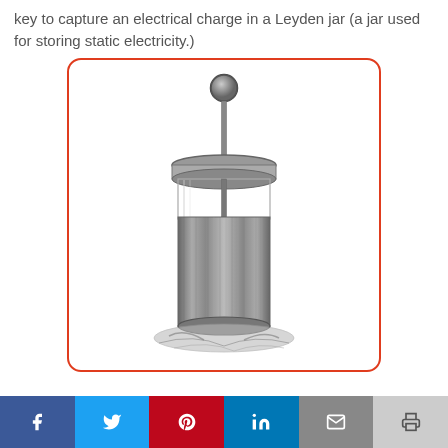key to capture an electrical charge in a Leyden jar (a jar used for storing static electricity.)
[Figure (illustration): Vintage engraving illustration of a Leyden jar — a cylindrical glass jar with metal foil lining and a metal rod topped with a ball terminal, used for storing static electricity. The jar sits on a base of scattered material.]